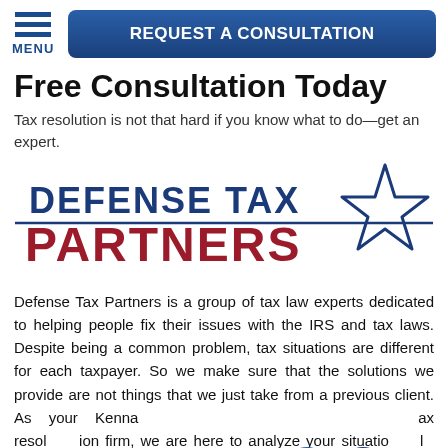MENU | REQUEST A CONSULTATION
Free Consultation Today
Tax resolution is not that hard if you know what to do—get an expert.
[Figure (logo): Defense Tax Partners logo with blue and red text and a blue star outline]
Defense Tax Partners is a group of tax law experts dedicated to helping people fix their issues with the IRS and tax laws. Despite being a common problem, tax situations are different for each taxpayer. So we make sure that the solutions we provide are not things that we just take from a previous client. As your Kennar tax resolution firm, we are here to analyze your situation only, and a specialized legal strategy, and offer the best of our expertise